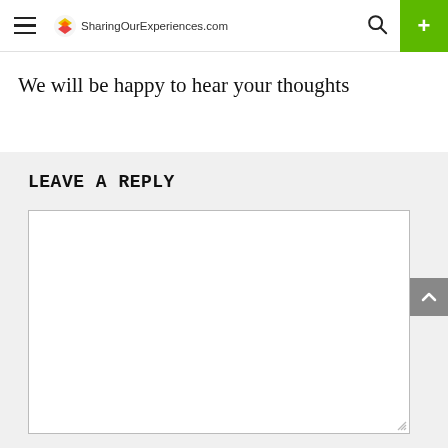SharingOurExperiences.com
We will be happy to hear your thoughts
LEAVE A REPLY
[Figure (other): Empty textarea/comment input box for user to type a reply]